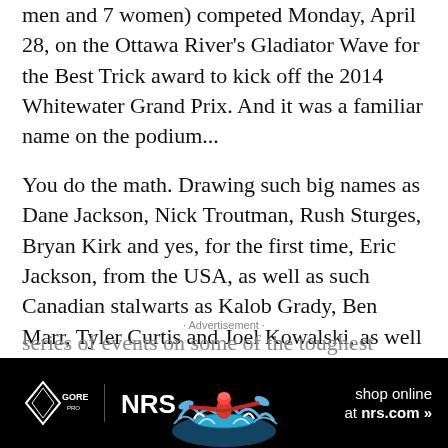men and 7 women) competed Monday, April 28, on the Ottawa River's Gladiator Wave for the Best Trick award to kick off the 2014 Whitewater Grand Prix. And it was a familiar name on the podium...
You do the math. Drawing such big names as Dane Jackson, Nick Troutman, Rush Sturges, Bryan Kirk and yes, for the first time, Eric Jackson, from the USA, as well as such Canadian stalwarts as Kalob Grady, Ben Marr, Tyler Curtis and Joel Kowalski, as well as a host of top paddlers form other countries, the Whitewater Grand Prix, which this year will be covered in a feature story in Outside magazine, brings the sports best together for a week-long series of events on some of the toughest
[Figure (infographic): Advertisement banner with Gore-Tex Pro and NRS logos on black background, kayaker photo in center, 'shop online at nrs.com' text on right]